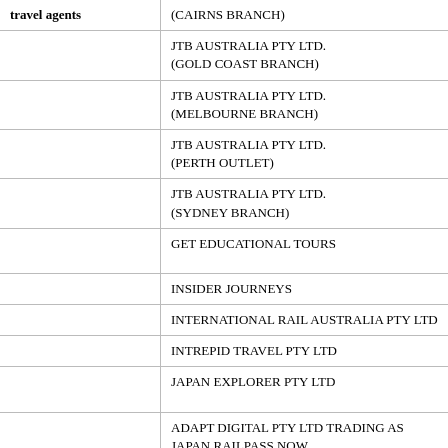| travel agents | (CAIRNS BRANCH) |
|  | JTB AUSTRALIA PTY LTD.
(GOLD COAST BRANCH) |
|  | JTB AUSTRALIA PTY LTD.
(MELBOURNE BRANCH) |
|  | JTB AUSTRALIA PTY LTD.
(PERTH OUTLET) |
|  | JTB AUSTRALIA PTY LTD.
(SYDNEY BRANCH) |
|  | GET EDUCATIONAL TOURS |
|  | INSIDER JOURNEYS |
|  | INTERNATIONAL RAIL AUSTRALIA PTY LTD |
|  | INTREPID TRAVEL PTY LTD |
|  | JAPAN EXPLORER PTY LTD |
|  | ADAPT DIGITAL PTY LTD TRADING AS JAPAN RAILPASS NOW |
|  | JAPFEN TOURS... |